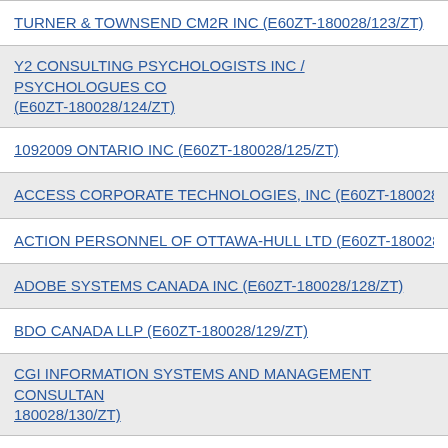TURNER & TOWNSEND CM2R INC (E60ZT-180028/123/ZT)
Y2 CONSULTING PSYCHOLOGISTS INC / PSYCHOLOGUES CO... (E60ZT-180028/124/ZT)
1092009 ONTARIO INC (E60ZT-180028/125/ZT)
ACCESS CORPORATE TECHNOLOGIES, INC (E60ZT-180028/12...)
ACTION PERSONNEL OF OTTAWA-HULL LTD (E60ZT-180028/12...)
ADOBE SYSTEMS CANADA INC (E60ZT-180028/128/ZT)
BDO CANADA LLP (E60ZT-180028/129/ZT)
CGI INFORMATION SYSTEMS AND MANAGEMENT CONSULTAN... 180028/130/ZT)
FACILITE INFORMATIQUE (E60ZT-180028/132/ZT)